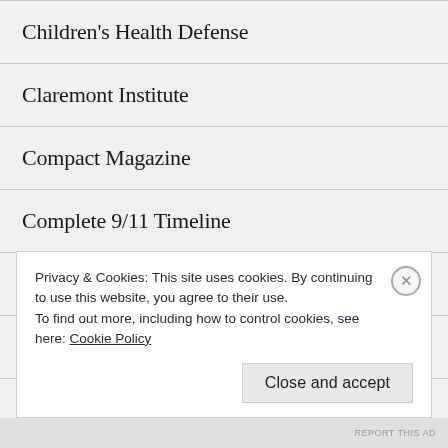Children's Health Defense
Claremont Institute
Compact Magazine
Complete 9/11 Timeline
Conservative Treehouse
Corbett Report
Counter Currents
Privacy & Cookies: This site uses cookies. By continuing to use this website, you agree to their use.
To find out more, including how to control cookies, see here: Cookie Policy
Close and accept
REPORT THIS AD